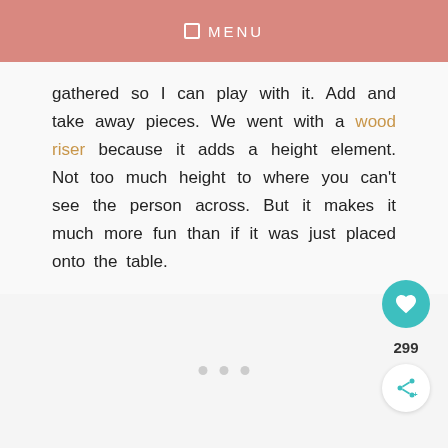MENU
gathered so I can play with it. Add and take away pieces. We went with a wood riser because it adds a height element. Not too much height to where you can't see the person across. But it makes it much more fun than if it was just placed onto the table.